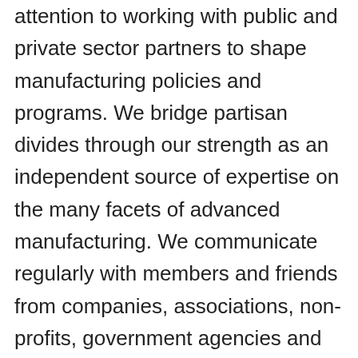attention to working with public and private sector partners to shape manufacturing policies and programs. We bridge partisan divides through our strength as an independent source of expertise on the many facets of advanced manufacturing. We communicate regularly with members and friends from companies, associations, non-profits, government agencies and education entities through our weekly newsletter, providing them with and information about topics of interest on manufacturing issues. And we serve as a national convening body through our annual conferences and exhibitions that focus on emerging and disruptive manufacturing industry trends … and scheduled visits with members of Congress and the